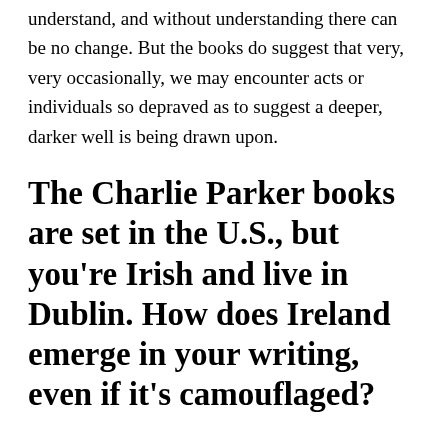understand, and without understanding there can be no change. But the books do suggest that very, very occasionally, we may encounter acts or individuals so depraved as to suggest a deeper, darker well is being drawn upon.
The Charlie Parker books are set in the U.S., but you're Irish and live in Dublin. How does Ireland emerge in your writing, even if it's camouflaged?